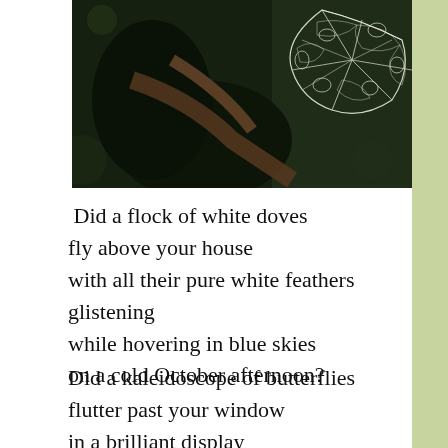[Figure (photo): Close-up nature photograph on dark background showing skeletal/lace-like white leaf structure against dark green blurred background with branches]
Did a flock of white doves
fly above your house
with all their pure white feathers glistening
while hovering in blue skies
on a cold October afternoon?
Did a kaleidoscope of butterflies
flutter past your window
in a brilliant display